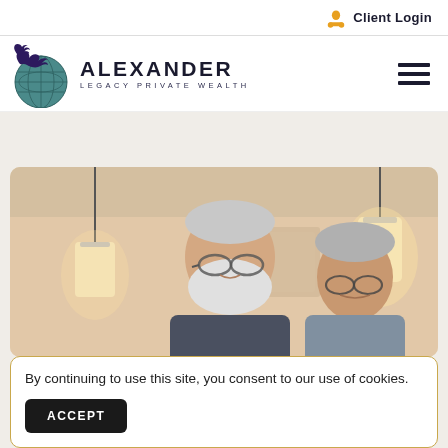Client Login
[Figure (logo): Alexander Legacy Private Wealth logo with eagle and globe]
[Figure (photo): Two elderly people (man with white beard and glasses, woman with gray hair and glasses) looking down at something, in a warmly lit room with pendant lights]
By continuing to use this site, you consent to our use of cookies.
ACCEPT